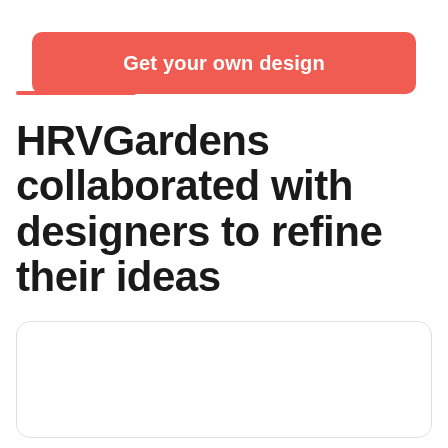Get your own design
HRVGardens collaborated with designers to refine their ideas
[Figure (other): Empty white rounded card/box placeholder at the bottom of the page]